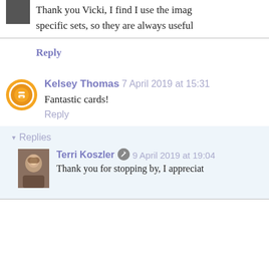[Figure (photo): Small profile photo thumbnail of a person]
Thank you Vicki, I find I use the imag... specific sets, so they are always useful
Reply
Kelsey Thomas 7 April 2019 at 15:31
Fantastic cards!
Reply
▾ Replies
[Figure (photo): Small profile photo of Terri Koszler]
Terri Koszler 🖊 9 April 2019 at 19:04
Thank you for stopping by, I appreciat...